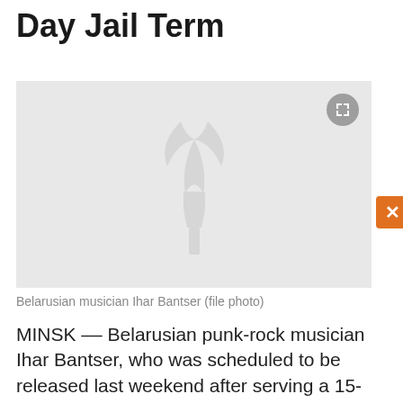Day Jail Term
[Figure (photo): Placeholder image with watermark logo — Belarusian musician Ihar Bantser (file photo)]
Belarusian musician Ihar Bantser (file photo)
MINSK -- Belarusian punk-rock musician Ihar Bantser, who was scheduled to be released last weekend after serving a 15-day jail sentence for allegedly spreading extremist materials, has instead been given another 15-day jail term on